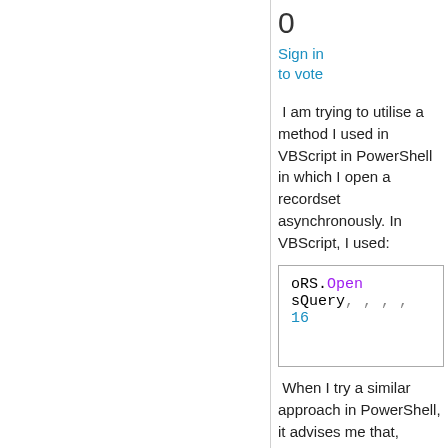0
Sign in to vote
I am trying to utilise a method I used in VBScript in PowerShell in which I open a recordset asynchronously. In VBScript, I used:
oRS.Open sQuery, , , , 16
When I try a similar approach in PowerShell, it advises me that, "Missing expression after ','"
$RS.Open($Query, , , , 16)
I am able to specify the parameters and get the query to execute asynchronously, but it